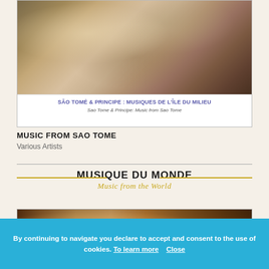[Figure (photo): Album cover for Sao Tome & Principe: Musiques de l'Île du Milieu showing performers in formal attire. White background with blue title text 'SÃO TOMÉ & PRINCÍPE : MUSIQUES DE L'ÎLE DU MILIEU' and italic subtitle 'Sao Tome & Principe: Music from Sao Tome']
MUSIC FROM SAO TOME
Various Artists
[Figure (logo): Musique du Monde / Music from the World logo with bold black text and gold cursive script subtitle, flanked by gold horizontal lines]
[Figure (photo): Partial album cover image showing wooden texture in brown/amber tones]
By continuing to navigate you declare to accept and consent to the use of cookies. To learn more   Close